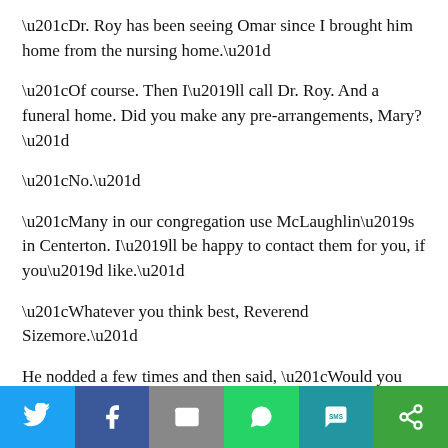“Dr. Roy has been seeing Omar since I brought him home from the nursing home.”
“Of course. Then I’ll call Dr. Roy. And a funeral home. Did you make any pre-arrangements, Mary?”
“No.”
“Many in our congregation use McLaughlin’s in Centerton. I’ll be happy to contact them for you, if you’d like.”
“Whatever you think best, Reverend Sizemore.”
He nodded a few times and then said, “Would you like me to say a prayer now, Mary?”
She said that would be nice, and he slipped off the sofa onto
[Figure (other): Social sharing bar with icons for Twitter, Facebook, Email, WhatsApp, SMS, and More (share)]